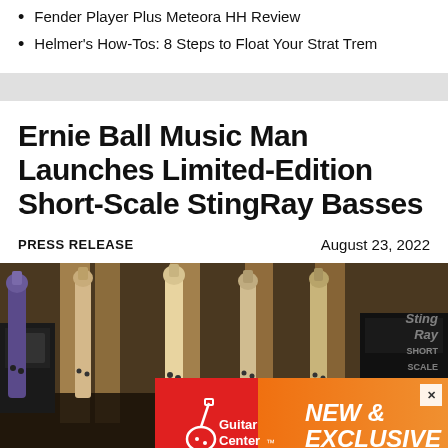Fender Player Plus Meteora HH Review
Helmer's How-Tos: 8 Steps to Float Your Strat Trem
Ernie Ball Music Man Launches Limited-Edition Short-Scale StingRay Basses
PRESS RELEASE
August 23, 2022
[Figure (photo): Multiple StingRay short-scale bass guitars displayed on stands in a studio setting, with a Guitar Center 'NEW & EXCLUSIVE' advertisement overlay at the bottom]